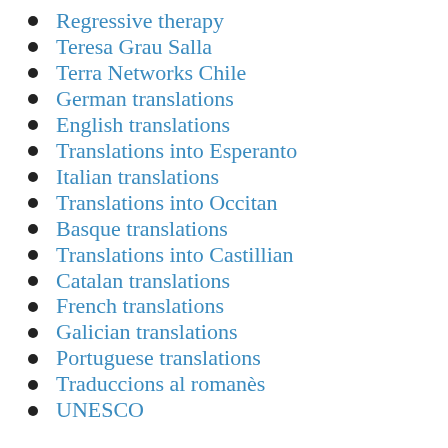Regressive therapy
Teresa Grau Salla
Terra Networks Chile
German translations
English translations
Translations into Esperanto
Italian translations
Translations into Occitan
Basque translations
Translations into Castillian
Catalan translations
French translations
Galician translations
Portuguese translations
Traduccions al romanès
UNESCO